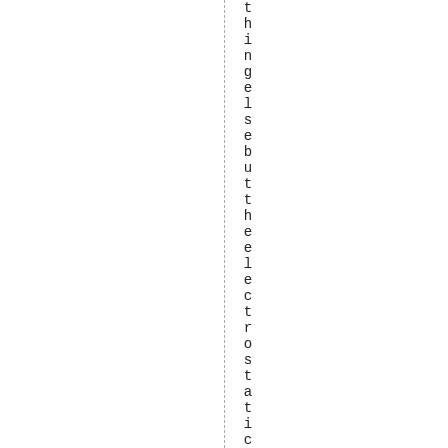thingel-sebuttheelectrostaticren